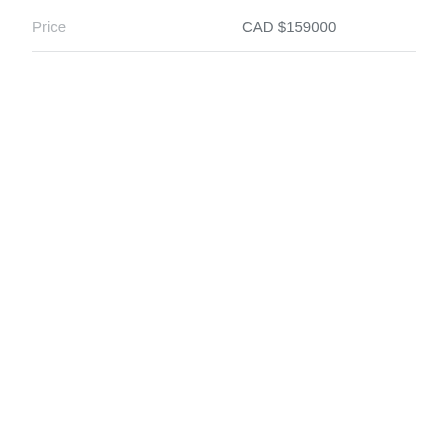| Price |  |
| --- | --- |
| Price | CAD $159000 |